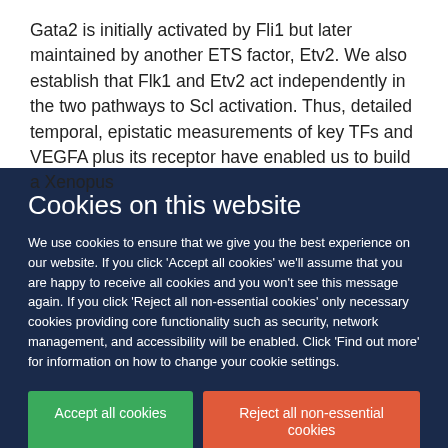Gata2 is initially activated by Fli1 but later maintained by another ETS factor, Etv2. We also establish that Flk1 and Etv2 act independently in the two pathways to Scl activation. Thus, detailed temporal, epistatic measurements of key TFs and VEGFA plus its receptor have enabled us to build a Xenopus
Cookies on this website
We use cookies to ensure that we give you the best experience on our website. If you click 'Accept all cookies' we'll assume that you are happy to receive all cookies and you won't see this message again. If you click 'Reject all non-essential cookies' only necessary cookies providing core functionality such as security, network management, and accessibility will be enabled. Click 'Find out more' for information on how to change your cookie settings.
Accept all cookies
Reject all non-essential cookies